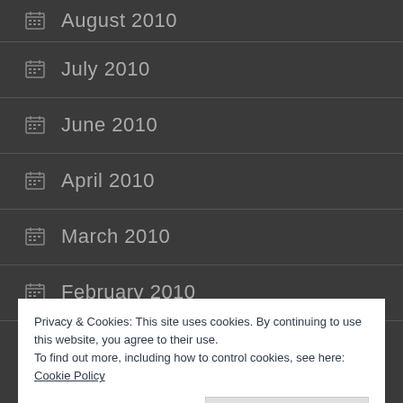August 2010
July 2010
June 2010
April 2010
March 2010
February 2010
January 2010
Privacy & Cookies: This site uses cookies. By continuing to use this website, you agree to their use. To find out more, including how to control cookies, see here: Cookie Policy
December 2008